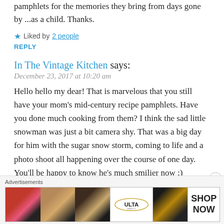pamphlets for the memories they bring from days gone by ...as a child. Thanks.
★ Liked by 2 people
REPLY
In The Vintage Kitchen says:
December 23, 2017 at 10:20 am
Hello hello my dear! That is marvelous that you still have your mom's mid-century recipe pamphlets. Have you done much cooking from them? I think the sad little snowman was just a bit camera shy. That was a big day for him with the sugar snow storm, coming to life and a photo shoot all happening over the course of one day. You'll be happy to know he's much smilier now :)
Advertisements
[Figure (photo): ULTA beauty advertisement banner showing cosmetic products and makeup looks with SHOP NOW text]